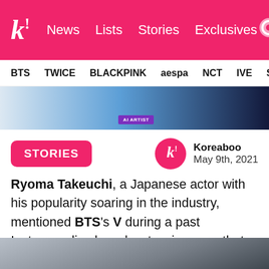k! News Lists Stories Exclusives
BTS TWICE BLACKPINK aespa NCT IVE SHIN...
[Figure (photo): Banner image with light blue and dark blue gradient background with a small purple badge label]
STORIES
Koreaboo May 9th, 2021
Ryoma Takeuchi, a Japanese actor with his popularity soaring in the industry, mentioned BTS's V during a past Instagram live broadcast — in a way that no one has ever done before. ARMYs were thrilled to find out Ryoma is a fanboy too and found his brief but playful conversation about V to be extra relatable.
[Figure (photo): Bottom portion of page showing top of a person's head/portrait photo]